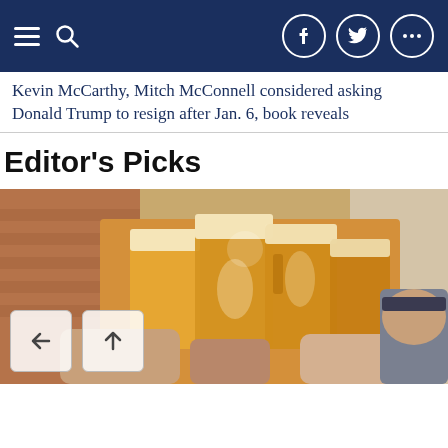Navigation bar with hamburger menu, search icon, Facebook, Twitter, and more icons
Kevin McCarthy, Mitch McConnell considered asking Donald Trump to resign after Jan. 6, book reveals
Editor's Picks
[Figure (photo): Multiple people clinking large beer mugs together in a celebratory toast; brick wall visible in background.]